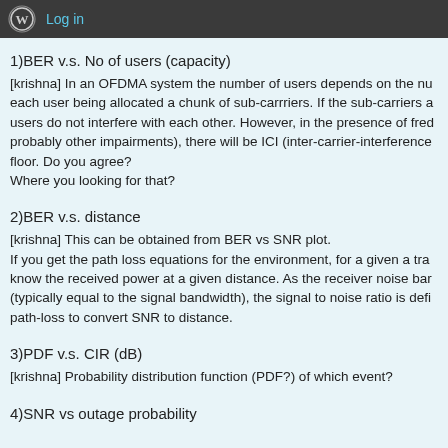Log in
1)BER v.s. No of users (capacity)
[krishna] In an OFDMA system the number of users depends on the nu each user being allocated a chunk of sub-carrriers. If the sub-carriers a users do not interfere with each other. However, in the presence of fred probably other impairments), there will be ICI (inter-carrier-interference floor. Do you agree?
Where you looking for that?
2)BER v.s. distance
[krishna] This can be obtained from BER vs SNR plot.
If you get the path loss equations for the environment, for a given a tra know the received power at a given distance. As the receiver noise bar (typically equal to the signal bandwidth), the signal to noise ratio is defi path-loss to convert SNR to distance.
3)PDF v.s. CIR (dB)
[krishna] Probability distribution function (PDF?) of which event?
4)SNR vs outage probability